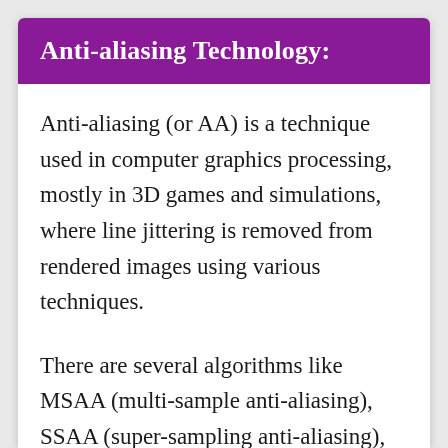Anti-aliasing Technology:
Anti-aliasing (or AA) is a technique used in computer graphics processing, mostly in 3D games and simulations, where line jittering is removed from rendered images using various techniques.
There are several algorithms like MSAA (multi-sample anti-aliasing), SSAA (super-sampling anti-aliasing), and FSAA (full scene anti-aliasing)